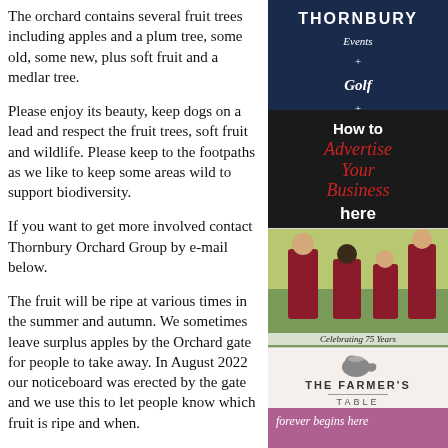The orchard contains several fruit trees including apples and a plum tree, some old, some new, plus soft fruit and a medlar tree.
Please enjoy its beauty, keep dogs on a lead and respect the fruit trees, soft fruit and wildlife. Please keep to the footpaths as we like to keep some areas wild to support biodiversity.
If you want to get more involved contact Thornbury Orchard Group by e-mail below.
The fruit will be ripe at various times in the summer and autumn. We sometimes leave surplus apples by the Orchard gate for people to take away. In August 2022 our noticeboard was erected by the gate and we use this to let people know which fruit is ripe and when.
Please do not pick if we have not said it is
[Figure (infographic): Thornbury Events Golf Stay advertisement with dark navy background]
[Figure (infographic): How to Advertise Your Business here advertisement with dark background and red italic text]
[Figure (photo): School children in uniforms celebrating 75 Years]
[Figure (infographic): The Farmer's Table advertisement with teapot illustration]
[Figure (infographic): Forever begins here advertisement with purple/pink background]